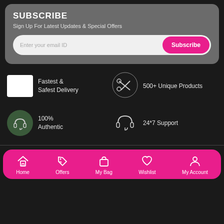SUBSCRIBE
Sign Up For Latest Updates & Special Offers
Enter your email ID | Subscribe
Fastest & Safest Delivery
500+ Unique Products
100% Authentic
24*7 Support
Home | Offers | My Bag | Wishlist | My Account